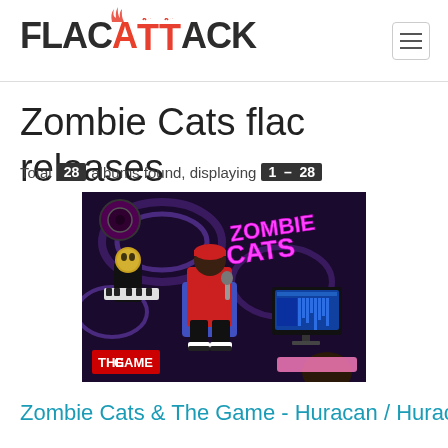FLAC ATTACK
Zombie Cats flac releases
Total 28 albums found, displaying 1 - 28
[Figure (illustration): Animated album cover art for 'Zombie Cats & The Game - Huracan'. Shows two cartoon figures in a recording studio with purple/psychedelic background. One figure wears a gold mask and plays a keyboard. Another sits in a chair speaking into a mic wearing a red jacket. A computer monitor shows a DAW. Pink 'Zombie Cats' text logo in top right. Red 'THE GAME' logo at bottom left.]
Zombie Cats & The Game - Huracan / Hurac